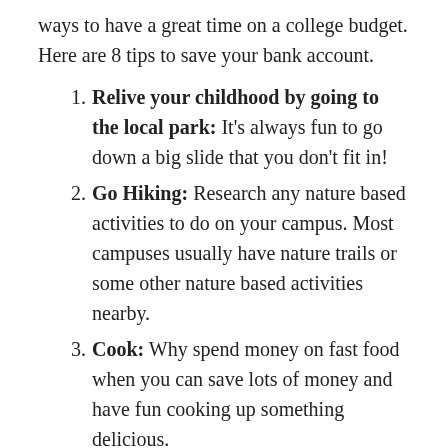ways to have a great time on a college budget. Here are 8 tips to save your bank account.
Relive your childhood by going to the local park: It’s always fun to go down a big slide that you don’t fit in!
Go Hiking: Research any nature based activities to do on your campus. Most campuses usually have nature trails or some other nature based activities nearby.
Cook: Why spend money on fast food when you can save lots of money and have fun cooking up something delicious.
Workout: Utilize your campus recreational facility which is a great way to play pickup games of many sports with friends or lifting